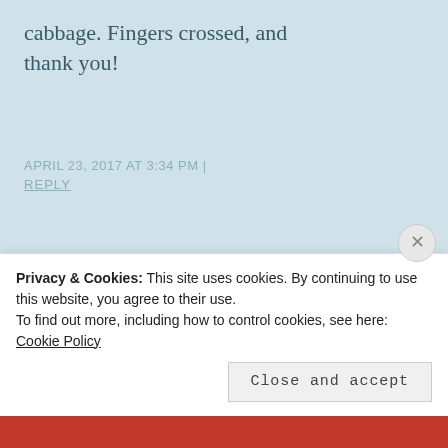cabbage. Fingers crossed, and thank you!
APRIL 23, 2017 AT 3:34 PM | REPLY
LIFELESSONS says: Cabbages are so beautiful. I plant the ornamental ones as flowers! Really big ones, granted.
Privacy & Cookies: This site uses cookies. By continuing to use this website, you agree to their use.
To find out more, including how to control cookies, see here: Cookie Policy
Close and accept